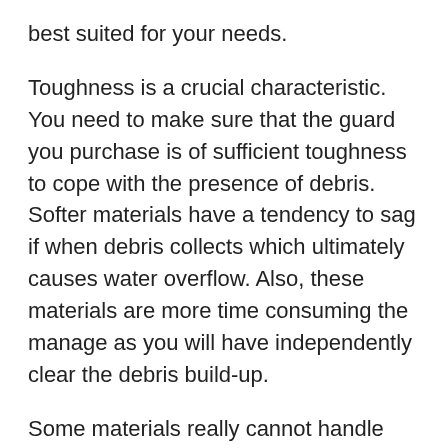best suited for your needs.
Toughness is a crucial characteristic. You need to make sure that the guard you purchase is of sufficient toughness to cope with the presence of debris. Softer materials have a tendency to sag if when debris collects which ultimately causes water overflow. Also, these materials are more time consuming the manage as you will have independently clear the debris build-up.
Some materials really cannot handle debris such as leaves well at all. If leaves collect, the leaves create a sticky substance that can be really unpleasant to remove. Materials that make it easier for dirt and grit to become stuck should also be avoided. The desired situation is one that effectively...